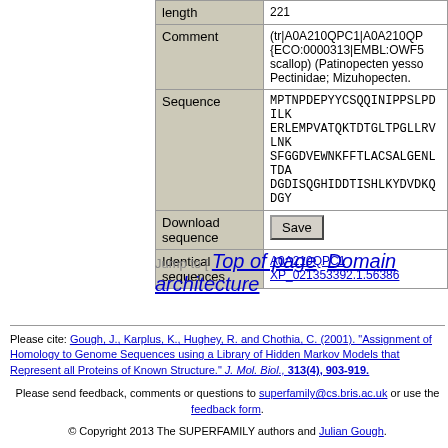| Field | Value |
| --- | --- |
| length | 221 |
| Comment | (tr|A0A210QPC1|A0A210QP... {ECO:0000313|EMBL:OWF5... scallop) (Patinopecten yesso... Pectinidae; Mizuhopecten. |
| Sequence | MPTNPDEPYYCSQQINIPPSLPDILK ERLEMPVATQKTDTGLTPGLLRVLNK SFGGDVEWNKFFTLACSALGENLTDA DGDISQGHIDDTISHLKYDVDKQDGY |
| Download sequence | Save |
| Identical sequences | A0A210QPC1
XP_021353392.1.56386 |
Jump to [ Top of page · Domain architecture
Please cite: Gough, J., Karplus, K., Hughey, R. and Chothia, C. (2001). "Assignment of Homology to Genome Sequences using a Library of Hidden Markov Models that Represent all Proteins of Known Structure." J. Mol. Biol., 313(4), 903-919.
Please send feedback, comments or questions to superfamily@cs.bris.ac.uk or use the feedback form.
© Copyright 2013 The SUPERFAMILY authors and Julian Gough.